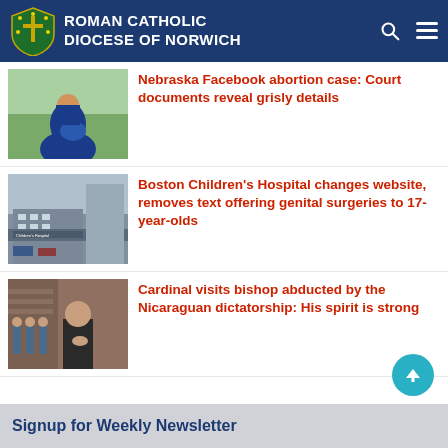Roman Catholic Diocese of Norwich
[Figure (photo): Pregnant woman in blue dress in a green field]
Nebraska Facebook abortion case: Court documents reveal grisly details
[Figure (photo): Boston Children's Hospital building exterior with sign]
Boston Children's Hospital changes website, removes text offering genital surgeries to 17-year-olds
[Figure (photo): Cardinal visiting bishop, people in background]
Cardinal visits bishop abducted by the Nicaraguan dictatorship: His spirit is strong
Signup for Weekly Newsletter